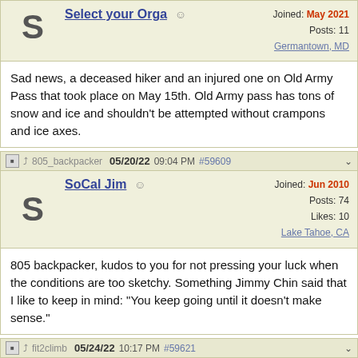Select your Orga — Joined: May 2021 | Posts: 11 | Germantown, MD
Sad news, a deceased hiker and an injured one on Old Army Pass that took place on May 15th. Old Army pass has tons of snow and ice and shouldn't be attempted without crampons and ice axes.
805_backpacker 05/20/22 09:04 PM #59609
SoCal Jim — Joined: Jun 2010 | Posts: 74 | Likes: 10 | Lake Tahoe, CA
805 backpacker, kudos to you for not pressing your luck when the conditions are too sketchy. Something Jimmy Chin said that I like to keep in mind: "You keep going until it doesn't make sense."
fit2climb 05/24/22 10:17 PM #59621
fit2climb — Joined: May 2016 | Posts: 41 | Likes: 40 | Tennessee
Went up to Langley on May 23, 2022